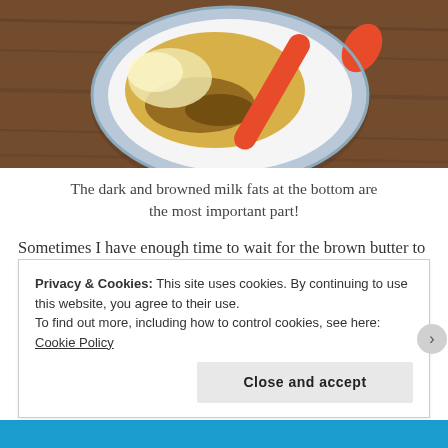[Figure (photo): Overhead view of a white and blue bowl containing golden dough or butter with browned milk fats, with a red/orange silicone spatula resting in the bowl, on a wooden surface.]
The dark and browned milk fats at the bottom are the most important part!
Sometimes I have enough time to wait for the brown butter to solidify to room temperature before I start to make a dough, and other times I'll throw it in the
Privacy & Cookies: This site uses cookies. By continuing to use this website, you agree to their use.
To find out more, including how to control cookies, see here: Cookie Policy
Close and accept